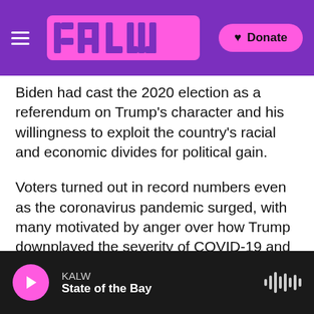KALW — [logo] — Donate
Biden had cast the 2020 election as a referendum on Trump's character and his willingness to exploit the country's racial and economic divides for political gain.
Voters turned out in record numbers even as the coronavirus pandemic surged, with many motivated by anger over how Trump downplayed the severity of COVID-19 and failed to take steps to contain the spread.
Since the election, Trump has shown little interest in the pandemic, which has infected more than 24 million people in the U.S., killing more than
KALW — State of the Bay